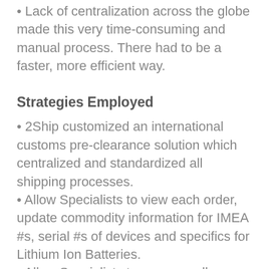• Lack of centralization across the globe made this very time-consuming and manual process. There had to be a faster, more efficient way.
Strategies Employed
• 2Ship customized an international customs pre-clearance solution which centralized and standardized all shipping processes.
• Allow Specialists to view each order, update commodity information for IMEA #s, serial #s of devices and specifics for Lithium Ion Batteries.
• Allow Specialists to pre-prep all customs paperwork prior to marking orders with a "Ready to Ship" status.
• Create a chat environment and alerts for